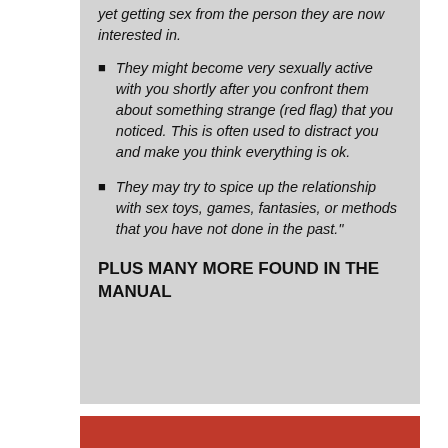yet getting sex from the person they are now interested in.
They might become very sexually active with you shortly after you confront them about something strange (red flag) that you noticed. This is often used to distract you and make you think everything is ok.
They may try to spice up the relationship with sex toys, games, fantasies, or methods that you have not done in the past."
PLUS MANY MORE FOUND IN THE MANUAL